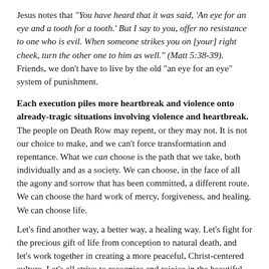Jesus notes that "You have heard that it was said, 'An eye for an eye and a tooth for a tooth.' But I say to you, offer no resistance to one who is evil. When someone strikes you on [your] right cheek, turn the other one to him as well." (Matt 5:38-39). Friends, we don't have to live by the old "an eye for an eye" system of punishment.
Each execution piles more heartbreak and violence onto already-tragic situations involving violence and heartbreak. The people on Death Row may repent, or they may not. It is not our choice to make, and we can't force transformation and repentance. What we can choose is the path that we take, both individually and as a society. We can choose, in the face of all the agony and sorrow that has been committed, a different route. We can choose the hard work of mercy, forgiveness, and healing. We can choose life.
Let's find another way, a better way, a healing way. Let's fight for the precious gift of life from conception to natural death, and let's work together in creating a more peaceful, Christ-centered culture. Let's all strive to recognize and rejoice in the beautiful humanity of each other.
"God must come first, do not forget it. He calls you and believes in you. You are rich in his love. Many